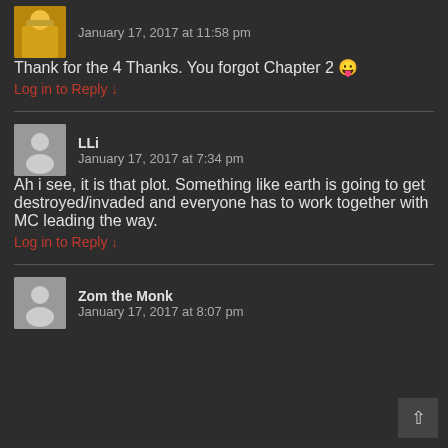[Figure (photo): User avatar (top portion visible) with partial username cropped]
January 17, 2017 at 11:58 pm
Thank for the 4 Thanks. You forgot Chapter 2 😛
Log in to Reply ↓
[Figure (illustration): Generic user avatar silhouette (grey background with person icon)]
LLi
January 17, 2017 at 7:34 pm
Ah i see, it is that plot. Something like earth is going to get destroyed/invaded and everyone has to work together with MC leading the way.
Log in to Reply ↓
[Figure (illustration): Generic user avatar silhouette (grey background with person icon)]
Zom the Monk
January 17, 2017 at 8:07 pm